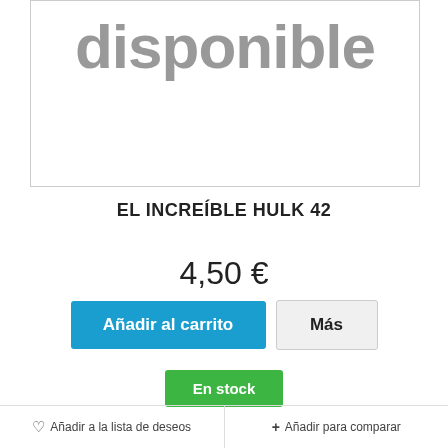[Figure (illustration): Product image placeholder showing the text 'disponible' in large gray bold font on white background with light gray border]
EL INCREÍBLE HULK 42
4,50 €
Añadir al carrito
Más
En stock
♡ Añadir a la lista de deseos   + Añadir para comparar